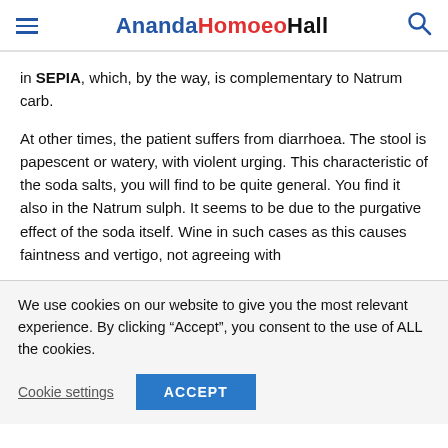AnandaHomoeoHall
in SEPIA, which, by the way, is complementary to Natrum carb.
At other times, the patient suffers from diarrhoea. The stool is papescent or watery, with violent urging. This characteristic of the soda salts, you will find to be quite general. You find it also in the Natrum sulph. It seems to be due to the purgative effect of the soda itself. Wine in such cases as this causes faintness and vertigo, not agreeing with
We use cookies on our website to give you the most relevant experience. By clicking “Accept”, you consent to the use of ALL the cookies.
Cookie settings   ACCEPT